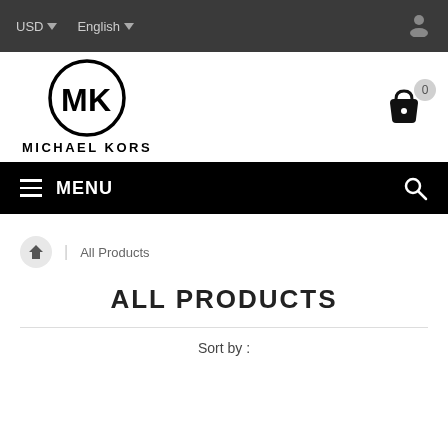USD  English
[Figure (logo): Michael Kors logo — circular MK monogram with MICHAEL KORS text below]
[Figure (other): Shopping basket icon with badge showing 0]
≡  MENU  🔍
All Products
ALL PRODUCTS
Sort by :